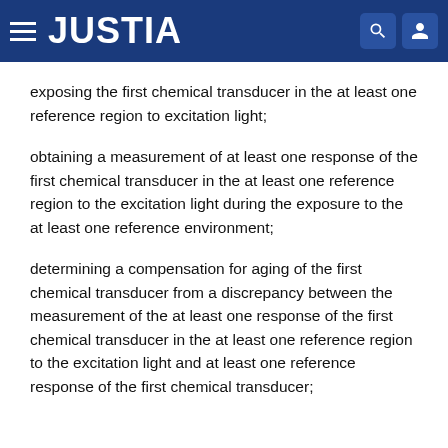JUSTIA
exposing the first chemical transducer in the at least one reference region to excitation light;
obtaining a measurement of at least one response of the first chemical transducer in the at least one reference region to the excitation light during the exposure to the at least one reference environment;
determining a compensation for aging of the first chemical transducer from a discrepancy between the measurement of the at least one response of the first chemical transducer in the at least one reference region to the excitation light and at least one reference response of the first chemical transducer;